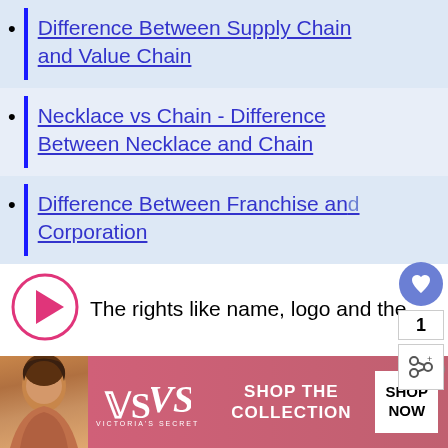Difference Between Supply Chain and Value Chain
Necklace vs Chain - Difference Between Necklace and Chain
Difference Between Franchise and Corporation
The rights like name, logo and the
[Figure (other): Advertisement banner for Victoria's Secret featuring a model, the VS logo, text SHOP THE COLLECTION, and a SHOP NOW button]